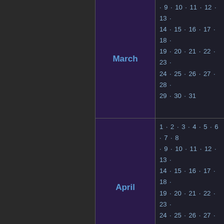| Month | Days |
| --- | --- |
| March | 9 · 10 · 11 · 12 · 13 · 14 · 15 · 16 · 17 · 18 · 19 · 20 · 21 · 22 · 23 · 24 · 25 · 26 · 27 · 28 · 29 · 30 · 31 |
| April | 1 · 2 · 3 · 4 · 5 · 6 · 7 · 8 · 9 · 10 · 11 · 12 · 13 · 14 · 15 · 16 · 17 · 18 · 19 · 20 · 21 · 22 · 23 · 24 · 25 · 26 · 27 · 28 · 29 · 30 |
| May | 1 · 2 · 3 · 4 · 5 · 6 · 7 · 8 · 9 · 10 · 11 · 12 · 13 · 14 · 15 · 16 · 17 · 18 · 19 · 20 · 21 · 22 · 23 · 24 · 25 · 26 · 27 · 28 · 29 · 30 · 31 |
| June | 1 · 2 · 3 · 4 · 5 · 6 · 7 · 8 · 9 · 10 · 11 · 12 · 13 · 14 · 15 · 16 · 17 · 18 · 19 · 20 · 21 · 22 · 23 · 24 · 25 · 26 · 27 · 28 · 29 · 30 |